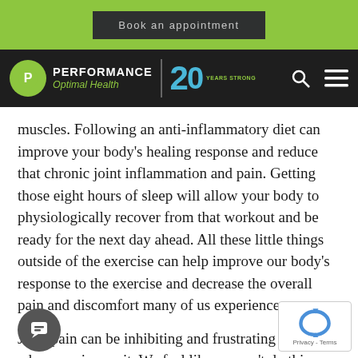Book an appointment
[Figure (logo): Performance Optimal Health logo with 20 Years Strong badge, search and menu icons on dark navigation bar]
muscles. Following an anti-inflammatory diet can improve your body's healing response and reduce that chronic joint inflammation and pain. Getting those eight hours of sleep will allow your body to physiologically recover from that workout and be ready for the next day ahead. All these little things outside of the exercise can help improve our body's response to the exercise and decrease the overall pain and discomfort many of us experience.
Joint pain can be inhibiting and frustrating for anyone who experiences it. We feel like we can't do things